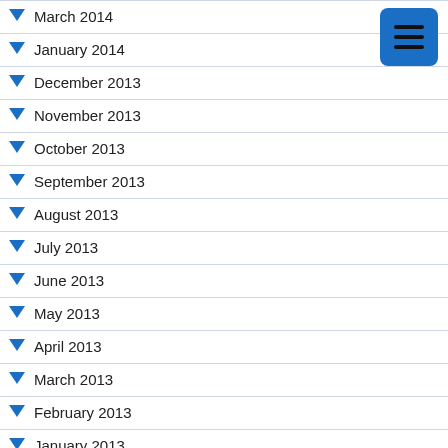March 2014
January 2014
December 2013
November 2013
October 2013
September 2013
August 2013
July 2013
June 2013
May 2013
April 2013
March 2013
February 2013
January 2013
September 2012
July 2012
June 2012
February 2012